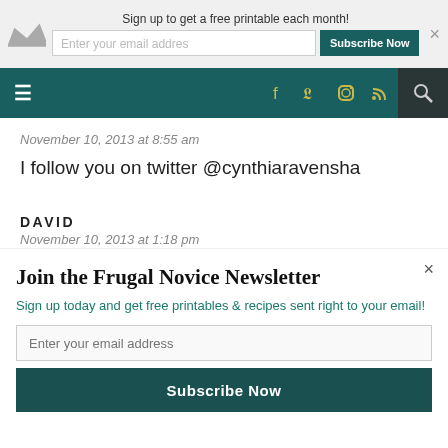Sign up to get a free printable each month!
[Figure (screenshot): Website navigation bar with hamburger menu, social icons (Facebook, Twitter, Instagram, RSS), and search icon on dark teal background]
November 10, 2013 at 8:55 am
I follow you on twitter @cynthiaravensha
DAVID
November 10, 2013 at 1:18 pm
Join the Frugal Novice Newsletter
Sign up today and get free printables & recipes sent right to your email!